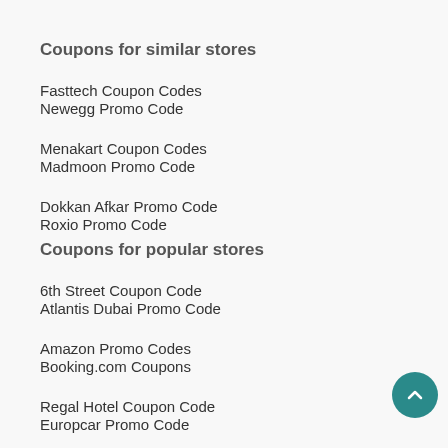Coupons for similar stores
Fasttech Coupon Codes
Newegg Promo Code
Menakart Coupon Codes
Madmoon Promo Code
Dokkan Afkar Promo Code
Roxio Promo Code
Coupons for popular stores
6th Street Coupon Code
Atlantis Dubai Promo Code
Amazon Promo Codes
Booking.com Coupons
Regal Hotel Coupon Code
Europcar Promo Code